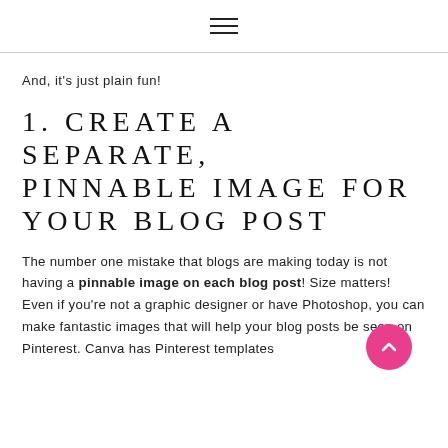≡
And, it's just plain fun!
1. CREATE A SEPARATE, PINNABLE IMAGE FOR YOUR BLOG POST
The number one mistake that blogs are making today is not having a pinnable image on each blog post! Size matters! Even if you're not a graphic designer or have Photoshop, you can make fantastic images that will help your blog posts be seen on Pinterest. Canva has Pinterest templates